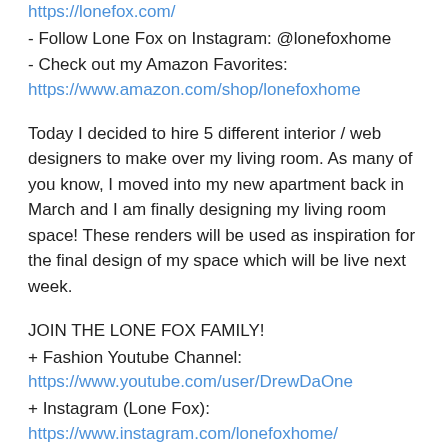https://lonefox.com/
- Follow Lone Fox on Instagram: @lonefoxhome
- Check out my Amazon Favorites: https://www.amazon.com/shop/lonefoxhome
Today I decided to hire 5 different interior / web designers to make over my living room. As many of you know, I moved into my new apartment back in March and I am finally designing my living room space! These renders will be used as inspiration for the final design of my space which will be live next week.
JOIN THE LONE FOX FAMILY!
+ Fashion Youtube Channel: https://www.youtube.com/user/DrewDaOne
+ Instagram (Lone Fox): https://www.instagram.com/lonefoxhome/
+ Instagram (Personal):